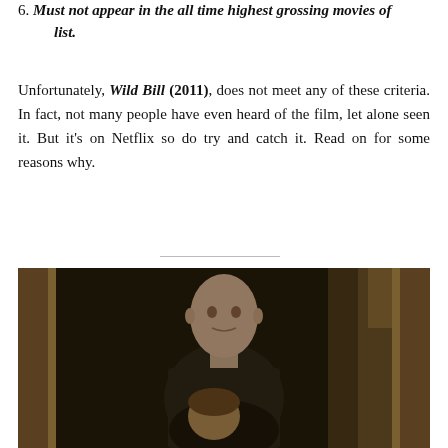6. Must not appear in the all time highest grossing movies of list.
Unfortunately, Wild Bill (2011), does not meet any of these criteria. In fact, not many people have even heard of the film, let alone seen it. But it's on Netflix so do try and catch it. Read on for some reasons why.
[Figure (photo): A movie still from Wild Bill (2011) showing a young man with a shaved head standing in a doorway, with another person partially visible below him. The scene is dimly lit with warm brown tones.]